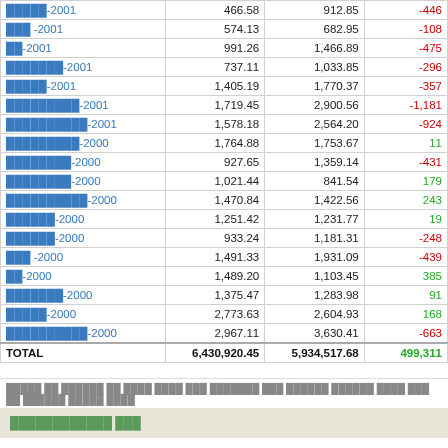| Name | Value1 | Value2 | Diff |
| --- | --- | --- | --- |
| █████-2001 | 466.58 | 912.85 | -446 |
| ███ -2001 | 574.13 | 682.95 | -108 |
| ██-2001 | 991.26 | 1,466.89 | -475 |
| ███████-2001 | 737.11 | 1,033.85 | -296 |
| █████-2001 | 1,405.19 | 1,770.37 | -357 |
| █████████-2001 | 1,719.45 | 2,900.56 | -1,181 |
| ██████████-2001 | 1,578.18 | 2,564.20 | -924 |
| █████████-2000 | 1,764.88 | 1,753.67 | 11 |
| ████████-2000 | 927.65 | 1,359.14 | -431 |
| ████████-2000 | 1,021.44 | 841.54 | 179 |
| ██████████-2000 | 1,470.84 | 1,422.56 | 243 |
| ██████-2000 | 1,251.42 | 1,231.77 | 19 |
| ██████-2000 | 933.24 | 1,181.31 | -248 |
| ███ -2000 | 1,491.33 | 1,931.09 | -439 |
| ██-2000 | 1,489.20 | 1,103.45 | 385 |
| ███████-2000 | 1,375.47 | 1,283.98 | 91 |
| █████-2000 | 2,773.63 | 2,604.93 | 168 |
| ██████████-2000 | 2,967.11 | 3,630.41 | -663 |
| TOTAL | 6,430,920.45 | 5,934,517.68 | 499,311 |
█████ ██ ██████ ██ ████ ████ ███ ███████ ███ ██████ ██████ ████ ███ ██ ██████ █████ ████
████████████ ███